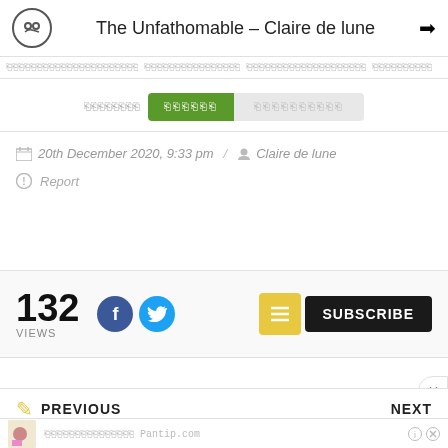The Unfathomable – Claire de lune
[garbled navigation bar text]
[tab row: garbled label | active tab garbled | inactive tab garbled]
20th December 2020, 9:33 pm / Claire de lune
Report
132 VIEWS
SUBSCRIBE
PREVIOUS
NEXT
[ad] Pantip.com